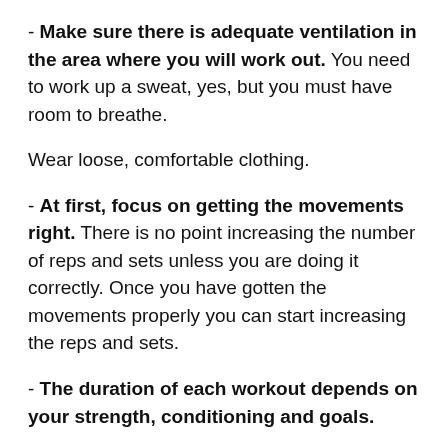- Make sure there is adequate ventilation in the area where you will work out. You need to work up a sweat, yes, but you must have room to breathe.
Wear loose, comfortable clothing.
- At first, focus on getting the movements right. There is no point increasing the number of reps and sets unless you are doing it correctly. Once you have gotten the movements properly you can start increasing the reps and sets.
- The duration of each workout depends on your strength, conditioning and goals.
For beginners it's best to start with 15 to 20